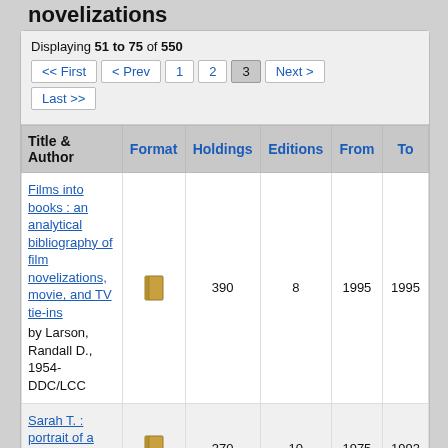novelizations
Displaying 51 to 75 of 550
| Title & Author | Format | Holdings | Editions | From | To |
| --- | --- | --- | --- | --- | --- |
| Films into books : an analytical bibliography of film novelizations, movie, and TV tie-ins
by Larson, Randall D., 1954-
DDC/LCC | [book icon] | 390 | 8 | 1995 | 1995 |
| Sarah T. : portrait of a teen-age alcoholic | [book icon] | 370 | 10 | 1975 | 1993 |